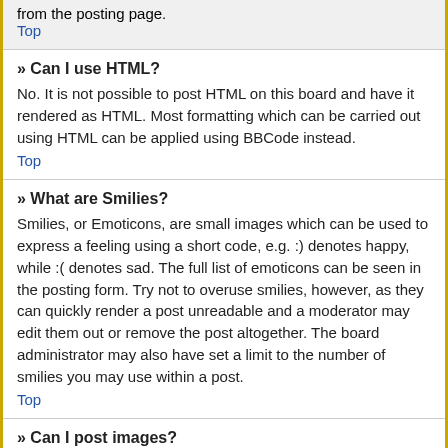from the posting page.
Top
» Can I use HTML?
No. It is not possible to post HTML on this board and have it rendered as HTML. Most formatting which can be carried out using HTML can be applied using BBCode instead.
Top
» What are Smilies?
Smilies, or Emoticons, are small images which can be used to express a feeling using a short code, e.g. :) denotes happy, while :( denotes sad. The full list of emoticons can be seen in the posting form. Try not to overuse smilies, however, as they can quickly render a post unreadable and a moderator may edit them out or remove the post altogether. The board administrator may also have set a limit to the number of smilies you may use within a post.
Top
» Can I post images?
Yes, images can be shown in your posts. If the administrator has allowed attachments, you may be able to upload the